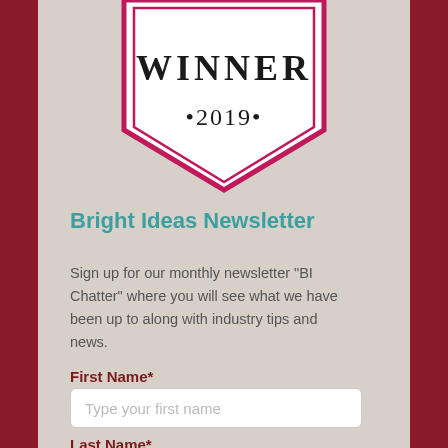[Figure (illustration): Winner 2019 badge/shield shape with pink/magenta border on light background, text 'WINNER' in large serif font and '•2019•' below it]
Bright Ideas Newsletter
Sign up for our monthly newsletter "BI Chatter" where you will see what we have been up to along with industry tips and news.
First Name*
Type your first name
Last Name*
Type your last name